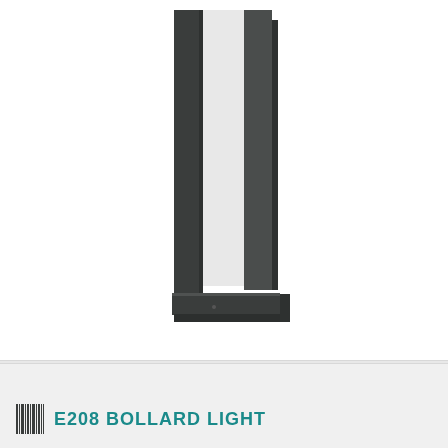[Figure (photo): Product photo of E208 Bollard Light — a tall, slender dark grey rectangular frame-style bollard light with a U-shaped form, open top, and a flat base. The frame is made of dark charcoal/anthracite colored metal. The inner panel is a white/frosted diffuser. Shown on white background, partially cropped at top.]
E208 BOLLARD LIGHT